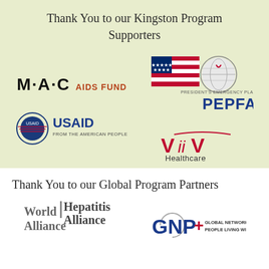Thank You to our Kingston Program Supporters
[Figure (logo): MAC AIDS FUND logo in black serif text]
[Figure (logo): PEPFAR logo with US flag and globe seal]
[Figure (logo): USAID FROM THE AMERICAN PEOPLE logo with circular seal]
[Figure (logo): ViiV Healthcare logo in red and dark text]
Thank You to our Global Program Partners
[Figure (logo): World Hepatitis Alliance logo]
[Figure (logo): GNP+ Global Network of People Living with HIV logo]